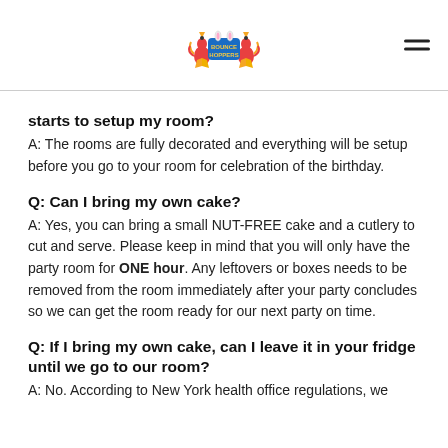[Figure (logo): Bounce Hoppers logo with colorful roosters and text]
starts to setup my room?
A: The rooms are fully decorated and everything will be setup before you go to your room for celebration of the birthday.
Q: Can I bring my own cake?
A: Yes, you can bring a small NUT-FREE cake and a cutlery to cut and serve. Please keep in mind that you will only have the party room for ONE hour. Any leftovers or boxes needs to be removed from the room immediately after your party concludes so we can get the room ready for our next party on time.
Q: If I bring my own cake, can I leave it in your fridge until we go to our room?
A: No. According to New York health office regulations, we